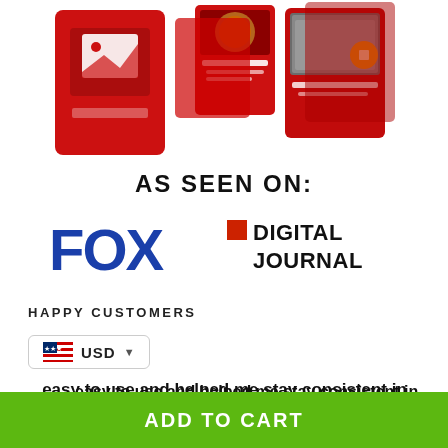[Figure (photo): Product images: a red box with a white image icon, and several red magazine-style cards/pages with pizza imagery.]
AS SEEN ON:
[Figure (logo): FOX logo in blue bold letters]
[Figure (logo): Digital Journal logo with red square icon and bold text]
HAPPY CUSTOMERS
USD
It was easy to use and helped me stay consistent in